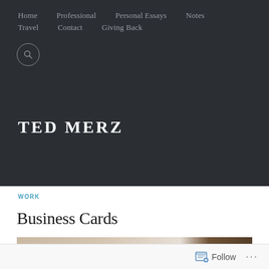Home | Professional | Personal Essays | Notes | Travel | Contact | Giving Back
TED MERZ
WORK
Business Cards
[Figure (photo): Photo of business cards stacked on a table with an ornate dark wood chair in the background]
Follow ...